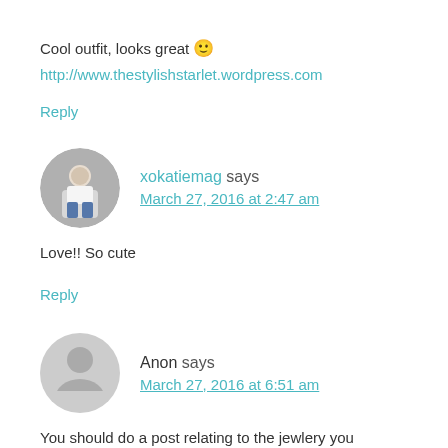Cool outfit, looks great 🙂
http://www.thestylishstarlet.wordpress.com
Reply
xokatiemag says
March 27, 2016 at 2:47 am
Love!! So cute
Reply
Anon says
March 27, 2016 at 6:51 am
You should do a post relating to the jewlery you